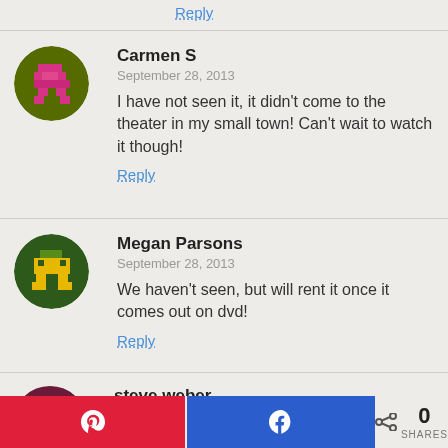Reply
Carmen S
September 28, 2013
I have not seen it, it didn’t come to the theater in my small town! Can’t wait to watch it though!
Reply
Megan Parsons
September 28, 2013
We haven’t seen, but will rent it once it comes out on dvd!
Reply
steve weber
September 28, 2013
0 SHARES